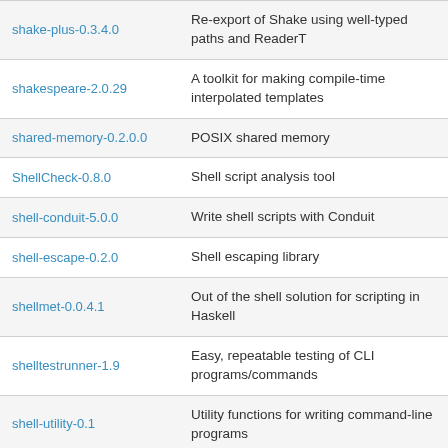| Package | Description |
| --- | --- |
| shake-plus-0.3.4.0 | Re-export of Shake using well-typed paths and ReaderT |
| shakespeare-2.0.29 | A toolkit for making compile-time interpolated templates |
| shared-memory-0.2.0.0 | POSIX shared memory |
| ShellCheck-0.8.0 | Shell script analysis tool |
| shell-conduit-5.0.0 | Write shell scripts with Conduit |
| shell-escape-0.2.0 | Shell escaping library |
| shellmet-0.0.4.1 | Out of the shell solution for scripting in Haskell |
| shelltestrunner-1.9 | Easy, repeatable testing of CLI programs/commands |
| shell-utility-0.1 | Utility functions for writing command-line programs |